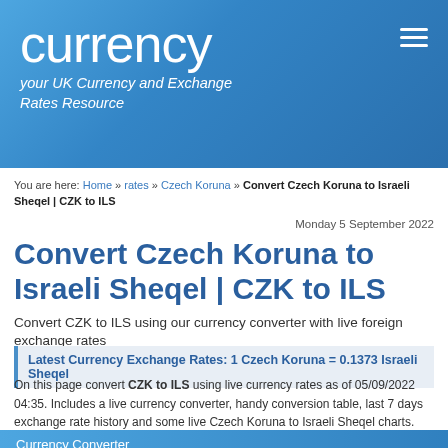currency
your UK Currency and Exchange Rates Resource
You are here: Home » rates » Czech Koruna » Convert Czech Koruna to Israeli Sheqel | CZK to ILS
Monday 5 September 2022
Convert Czech Koruna to Israeli Sheqel | CZK to ILS
Convert CZK to ILS using our currency converter with live foreign exchange rates
Latest Currency Exchange Rates: 1 Czech Koruna = 0.1373 Israeli Sheqel
On this page convert CZK to ILS using live currency rates as of 05/09/2022 04:35. Includes a live currency converter, handy conversion table, last 7 days exchange rate history and some live Czech Koruna to Israeli Sheqel charts. Invert these currencies?
Currency Converter
Use this currency calulator for live currency conversions as you type.